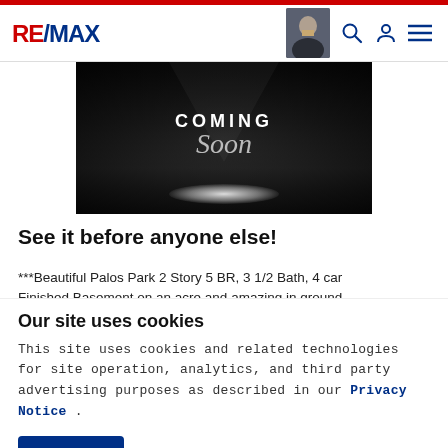RE/MAX
[Figure (illustration): Coming Soon dark spotlight image with text COMING Soon in white/gray on black background with light pool at bottom]
See it before anyone else!
***Beautiful Palos Park 2 Story 5 BR, 3 1/2 Bath, 4 car Finished Basement on an acre and amazing in ground
Our site uses cookies
This site uses cookies and related technologies for site operation, analytics, and third party advertising purposes as described in our Privacy Notice .
ACCEPT